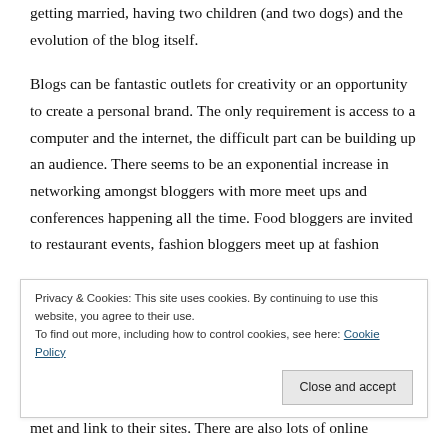getting married, having two children (and two dogs) and the evolution of the blog itself.
Blogs can be fantastic outlets for creativity or an opportunity to create a personal brand. The only requirement is access to a computer and the internet, the difficult part can be building up an audience. There seems to be an exponential increase in networking amongst bloggers with more meet ups and conferences happening all the time. Food bloggers are invited to restaurant events, fashion bloggers meet up at fashion
Privacy & Cookies: This site uses cookies. By continuing to use this website, you agree to their use.
To find out more, including how to control cookies, see here: Cookie Policy
met and link to their sites. There are also lots of online